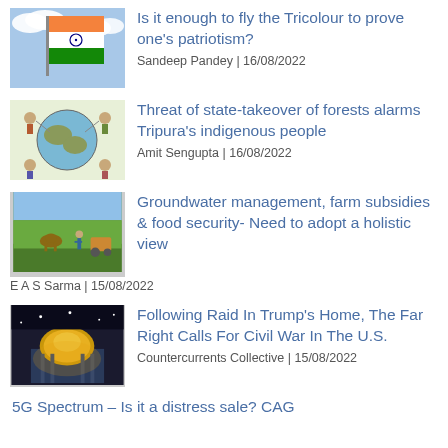[Figure (photo): Indian tricolour flag waving against blue sky]
Is it enough to fly the Tricolour to prove one's patriotism?
Sandeep Pandey | 16/08/2022
[Figure (photo): Illustrated globe with indigenous symbols and figures]
Threat of state-takeover of forests alarms Tripura's indigenous people
Amit Sengupta | 16/08/2022
[Figure (photo): Farmers and cattle in a green field]
Groundwater management, farm subsidies & food security- Need to adopt a holistic view
E A S Sarma | 15/08/2022
[Figure (photo): Building with golden dome lit up at night]
Following Raid In Trump's Home, The Far Right Calls For Civil War In The U.S.
Countercurrents Collective | 15/08/2022
5G Spectrum – Is it a distress sale? CAG